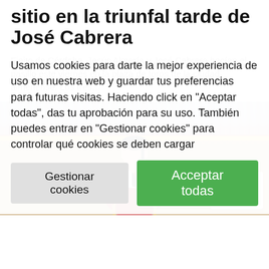sitio en la triunfal tarde de José Cabrera
Finito de Córdoba, Jesús Almería y José Cabrera hacían el pasillo este viernes en la plaza de toros de la ciudad almeriense. Los tres…
Usamos cookies para darte la mejor experiencia de uso en nuestra web y guardar tus preferencias para futuras visitas. Haciendo click en "Aceptar todas", das tu aprobación para su uso. También puedes entrar en "Gestionar cookies" para controlar qué cookies se deben cargar
[Figure (photo): Photo of a matador in traditional traje de luces (suit of lights) with embroidered jacket, black tie, raising hand in a bullfighting arena with red barrier and crowd in background. reCAPTCHA badge visible in bottom right.]